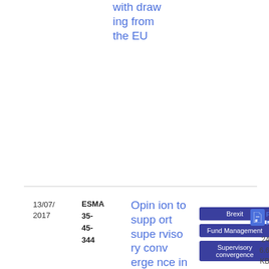with drawing from the EU
13/07/2017
ESMA 35-45-344
Opinion to support supervisory convergence in the area of
Brexit
Fund Management
Supervisory convergence
Opinion
PDF
24
6.6 KB